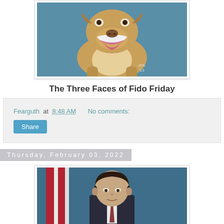[Figure (illustration): Cartoon illustration of a dog (bulldog/golden mix) with mouth open, on a blue background. Artist signature '-JOL 13' visible.]
The Three Faces of Fido Friday
Fearguth at 8:48 AM   No comments:
Share
Thursday, February 03, 2022
[Figure (photo): Photograph of a man in a suit against a blue background with an American flag visible behind him.]